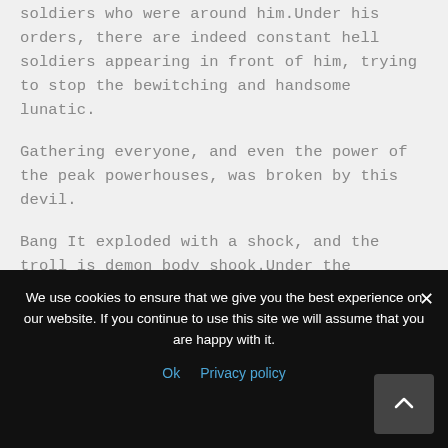soldiers who were around him. Under his orders, there are indeed constant hell soldiers appearing in front of him, trying to stop the bewitching and handsome lunatic.
Gathering everyone, and even the power of the peak powerhouses, was broken by this devil.
Bang It exploded with a shock, and the troll is demon body shook. Under the watchful eyes of the public, I saw this supreme demon body suddenly burst open.
We use cookies to ensure that we give you the best experience on our website. If you continue to use this site we will assume that you are happy with it.
Ok   Privacy policy